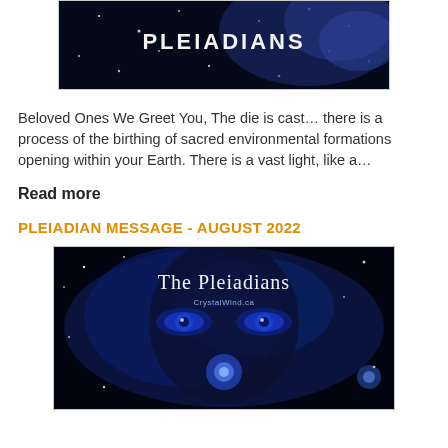[Figure (photo): Dark space/nebula background with the text 'PLEIADIANS' in white letters]
Beloved Ones We Greet You, The die is cast… there is a process of the birthing of sacred environmental formations opening within your Earth. There is a vast light, like a…
Read more
PLEIADIAN MESSAGE - AUGUST 2022
[Figure (photo): Blue-toned cosmic image showing a face with blue eyes and text 'The Pleiadians' and 'CrystalWind.ca']